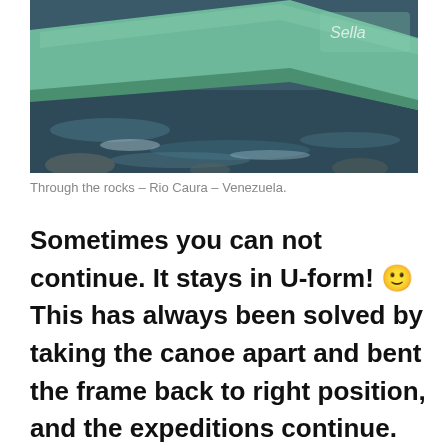[Figure (photo): Close-up photo of the bow of a green canoe navigating through rocks in whitewater rapids, Rio Caura, Venezuela.]
Through the rocks – Rio Caura – Venezuela.
Sometimes you can not continue. It stays in U-form! 🙂 This has always been solved by taking the canoe apart and bent the frame back to right position, and the expeditions continue. One negativ thing with the whole canoe is the first time set up. You almost think it is impossible. The